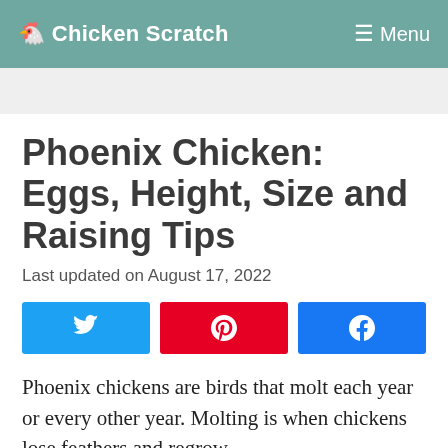Chicken Scratch   ☰ Menu
Phoenix Chicken: Eggs, Height, Size and Raising Tips
Last updated on August 17, 2022
[Figure (infographic): Social share buttons: Twitter (blue), Pinterest (red), Facebook (blue)]
Phoenix chickens are birds that molt each year or every other year. Molting is when chickens lose feathers and regrow